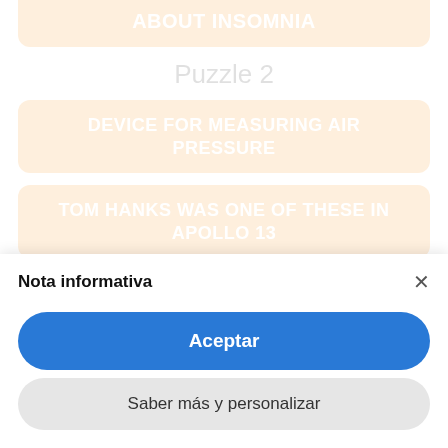ABOUT INSOMNIA
Puzzle 2
DEVICE FOR MEASURING AIR PRESSURE
TOM HANKS WAS ONE OF THESE IN APOLLO 13
LARGE DOG BREED ALSO CALLED THE
Nota informativa
Aceptar
Saber más y personalizar